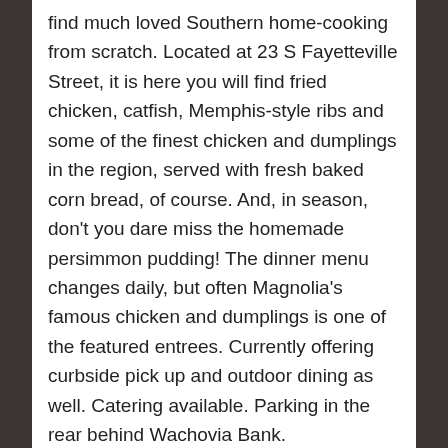find much loved Southern home-cooking from scratch. Located at 23 S Fayetteville Street, it is here you will find fried chicken, catfish, Memphis-style ribs and some of the finest chicken and dumplings in the region, served with fresh baked corn bread, of course. And, in season, don't you dare miss the homemade persimmon pudding! The dinner menu changes daily, but often Magnolia's famous chicken and dumplings is one of the featured entrees. Currently offering curbside pick up and outdoor dining as well. Catering available. Parking in the rear behind Wachovia Bank.
Magnolia 23 Restaurant Inspired Chicken and